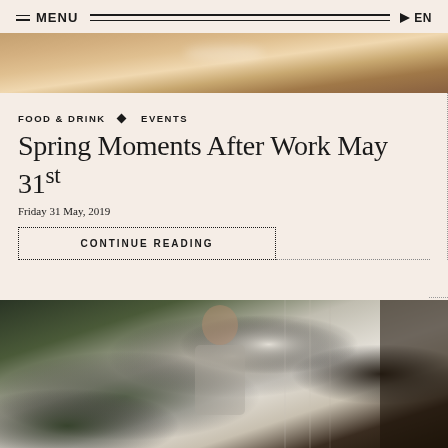MENU   EN
[Figure (photo): Close-up of a warm-toned marble or wooden surface, blurred background with soft light reflection]
FOOD & DRINK ◆ EVENTS
Spring Moments After Work May 31st
Friday 31 May, 2019
CONTINUE READING
[Figure (photo): A man in a fitted grey top with suspenders stands by a window with sheer white curtains and brown drapes, with a large green plant in the foreground]